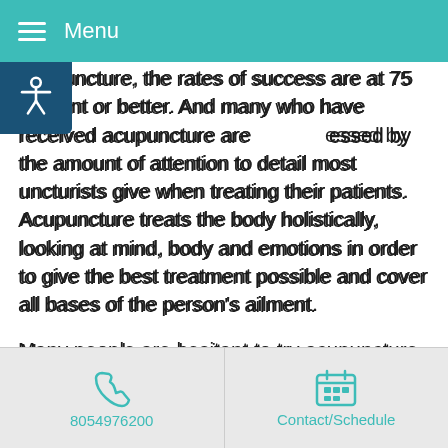Menu
acupuncture, the rates of success are at 75 percent or better. And many who have received acupuncture are impressed by the amount of attention to detail most acupuncturists give when treating their patients. Acupuncture treats the body holistically, looking at mind, body and emotions in order to give the best treatment possible and cover all bases of the person’s ailment.
Many people are hesitant to try acupuncture, because it can feel foreign and hard to wrap your head around. And with so few people actually using acupuncture, it is no surprise there are a lot of things people don’t know. Here’s a list of five things most people are surprised to find out when it comes to the practice of acupuncture.
8054976200 | Contact/Schedule